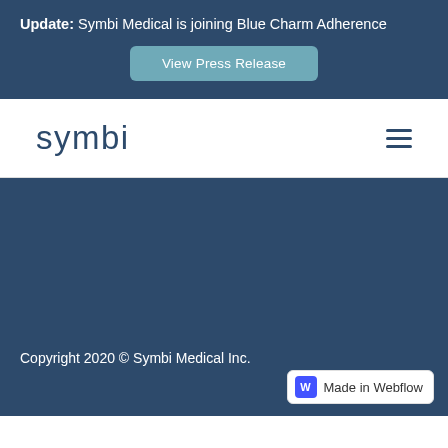Update: Symbi Medical is joining Blue Charm Adherence
[Figure (screenshot): View Press Release button - a teal/muted blue-green rounded rectangle button with white text]
[Figure (logo): Symbi logo in dark navy blue lowercase text, with hamburger menu icon on the right]
Copyright 2020 © Symbi Medical Inc.
[Figure (logo): Made in Webflow badge - white rounded rectangle with purple W icon and 'Made in Webflow' text]